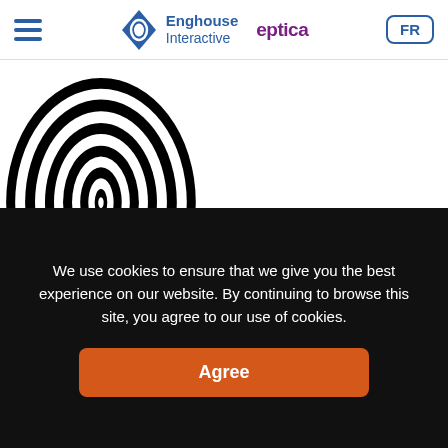Enghouse Interactive | Eptica | FR
[Figure (illustration): Black and white spiral/fingerprint-like concentric oval pattern on white background]
It is fair to say that social media took many organisations by surprise. Suddenly their customers wanted to communicate and engage with them
We use cookies to ensure that we give you the best experience on our website. By continuing to browse this site, you agree to our use of cookies.
Agree